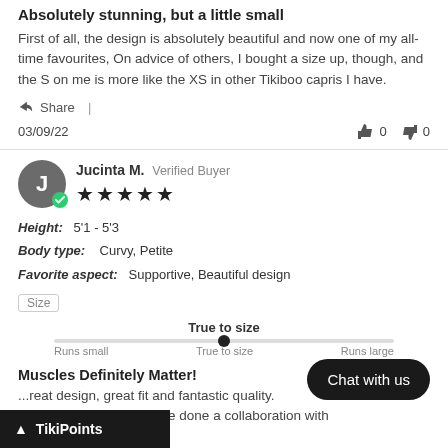Absolutely stunning, but a little small
First of all, the design is absolutely beautiful and now one of my all-time favourites, On advice of others, I bought a size up, though, and the S on me is more like the XS in other Tikiboo capris I have.
Share |
03/09/22   👍 0   👎 0
Jucinta M.  Verified Buyer  ★★★★★
Height: 5'1 - 5'3
Body type: Curvy, Petite
Favorite aspect: Supportive, Beautiful design
Size
True to size
Muscles Definitely Matter!
...reat design, great fit and fantastic quality. ...he that fact Tikiboo have done a collaboration with